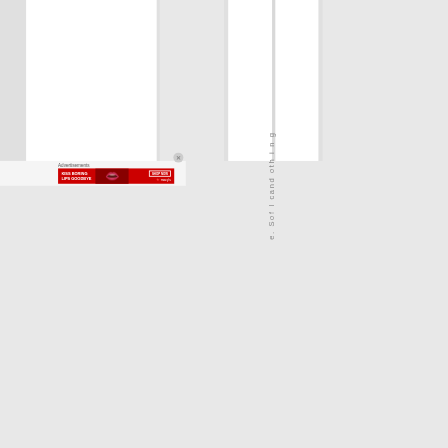e. Sof l cand oth i n g
Advertisements
[Figure (photo): Macy's advertisement banner: 'KISS BORING LIPS GOODBYE' with SHOP NOW button and Macy's star logo, featuring a woman's face with red lips on a red background]